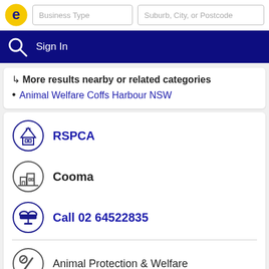Business Type | Suburb, City, or Postcode | Sign In
↳ More results nearby or related categories
• Animal Welfare Coffs Harbour NSW
RSPCA
Cooma
Call 02 64522835
Animal Protection & Welfare
Cooma - New South Wales 2630